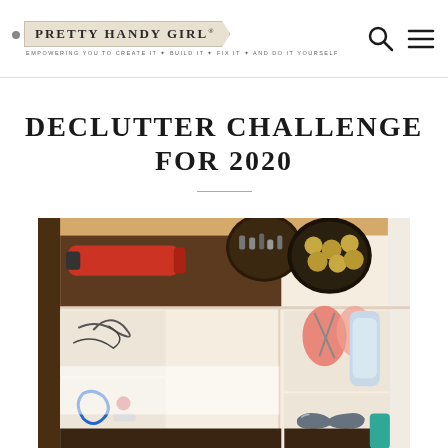PRETTY HANDY GIRL® — EMPOWERING YOU TO CREATE IT ✦ BUILD IT ✦ FIX IT ✦ AND DO IT YOURSELF
DECLUTTER CHALLENGE FOR 2020
[Figure (photo): Organized junk drawer with compartments containing a flashlight, coins, scissors, carabiners, sunglasses, lip balm, and other miscellaneous items neatly sorted in dividers]